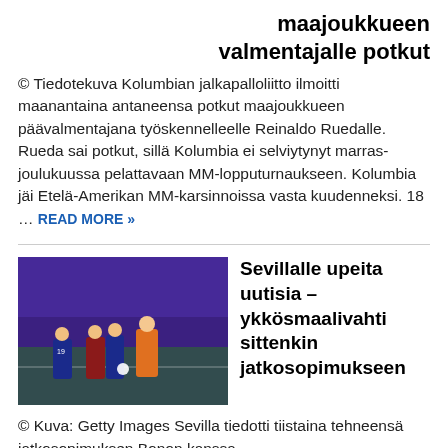maajoukkueen valmentajalle potkut
© Tiedotekuva Kolumbian jalkapalloliitto ilmoitti maanantaina antaneensa potkut maajoukkueen päävalmentajana työskennelleelle Reinaldo Ruedalle. Rueda sai potkut, sillä Kolumbia ei selviytynyt marras-joulukuussa pelattavaan MM-lopputurnaukseen. Kolumbia jäi Etelä-Amerikan MM-karsinnoissa vasta kuudenneksi. 18 … READ MORE »
[Figure (photo): Soccer players on a purple-lit field, one in orange goalkeeper kit]
Sevillalle upeita uutisia – ykkösmaalivahti sittenkin jatkosopimukseen
© Kuva: Getty Images Sevilla tiedotti tiistaina tehneensä jatkosopimuksen Bonon kanssa.